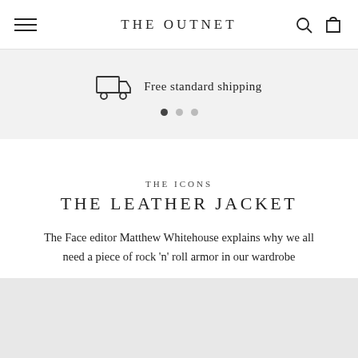THE OUTNET
Free standard shipping
THE ICONS
THE LEATHER JACKET
The Face editor Matthew Whitehouse explains why we all need a piece of rock 'n' roll armor in our wardrobe
[Figure (photo): Gray placeholder image area at the bottom of the page]